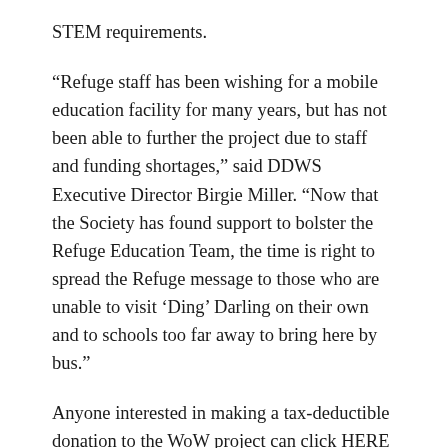STEM requirements.
“Refuge staff has been wishing for a mobile education facility for many years, but has not been able to further the project due to staff and funding shortages,” said DDWS Executive Director Birgie Miller. “Now that the Society has found support to bolster the Refuge Education Team, the time is right to spread the Refuge message to those who are unable to visit ‘Ding’ Darling on their own and to schools too far away to bring here by bus.”
Anyone interested in making a tax-deductible donation to the WoW project can click HERE or contact Birgie at 239-472-1100 ext. 232.